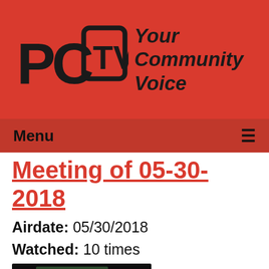[Figure (logo): PCTV logo with 'Your Community Voice' tagline on red banner background]
Menu ☰
Meeting of 05-30-2018
Airdate: 05/30/2018
Watched: 10 times
[Figure (photo): Screenshot of a village board meeting showing people seated at a long desk with an American flag in the background]
The Village Board